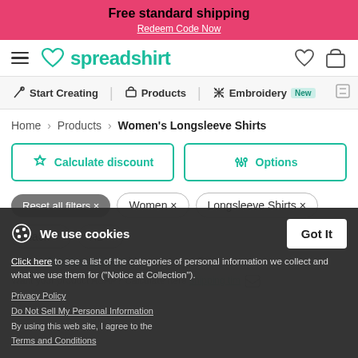Free standard shipping
Redeem Code Now
[Figure (screenshot): Spreadshirt logo with heart icon in teal/green]
Start Creating | Products | Embroidery New
Home > Products > Women's Longsleeve Shirts
Calculate discount | Options
Reset all filters ×
Women ×
Longsleeve Shirts ×
black ×
XL ×
We use cookies
Click here to see a list of the categories of personal information we collect and what we use them for ("Notice at Collection").
Privacy Policy
Do Not Sell My Personal Information
By using this web site, I agree to the Terms and Conditions
Got It